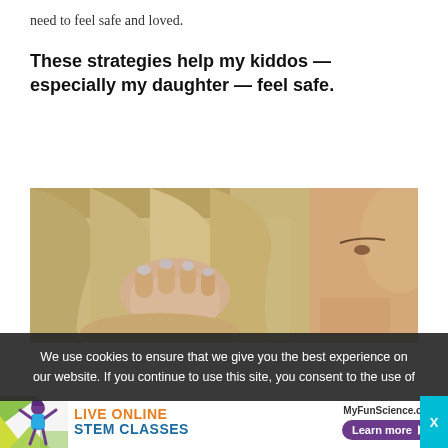need to feel safe and loved.
These strategies help my kiddos — especially my daughter — feel safe.
[Figure (photo): Close-up photo of an adult placing their hand tenderly on the back of a child's head, showing care and comfort.]
We use cookies to ensure that we give you the best experience on our website. If you continue to use this site, you consent to the use of
[Figure (infographic): Advertisement banner for MyFunScience.com featuring an illustrated girl, text 'LIVE ONLINE STEM CLASSES', website name, and a 'Learn more' button.]